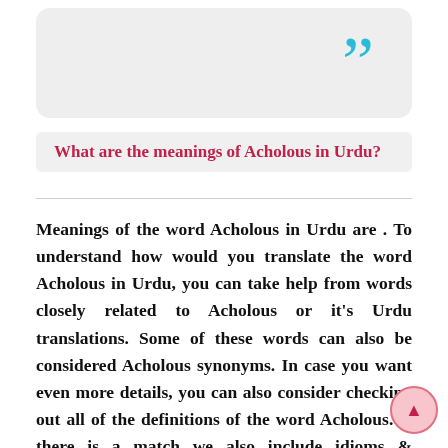[Figure (illustration): Light gray rounded rectangle with large cyan/blue double closing quotation mark in upper right]
What are the meanings of Acholous in Urdu?
Meanings of the word Acholous in Urdu are . To understand how would you translate the word Acholous in Urdu, you can take help from words closely related to Acholous or it’s Urdu translations. Some of these words can also be considered Acholous synonyms. In case you want even more details, you can also consider checking out all of the definitions of the word Acholous. If there is a match we also include idioms & quotations that either use this word or its translations in them or use any of the related words in English or Urdu